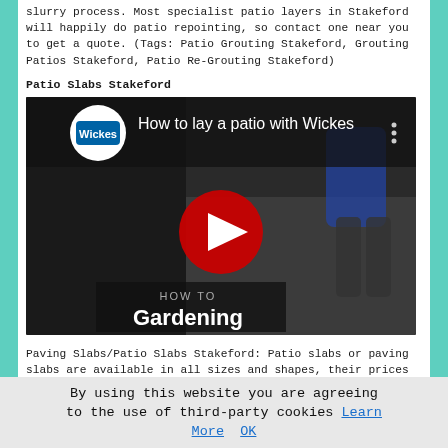slurry process. Most specialist patio layers in Stakeford will happily do patio repointing, so contact one near you to get a quote. (Tags: Patio Grouting Stakeford, Grouting Patios Stakeford, Patio Re-Grouting Stakeford)
Patio Slabs Stakeford
[Figure (screenshot): YouTube video thumbnail: 'How to lay a patio with Wickes' featuring the Wickes logo, a red play button, and a 'HOW TO Gardening' overlay label, showing a person laying patio slabs.]
Paving Slabs/Patio Slabs Stakeford: Patio slabs or paving slabs are available in all sizes and shapes, their prices can differ widely as well. Issues like the need to match existing materials, current trends, your planned budget and
By using this website you are agreeing to the use of third-party cookies Learn More  OK